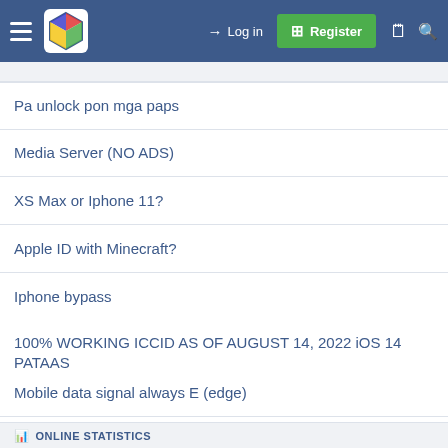Navigation bar with hamburger menu, logo, Log in, Register, and search icons
[partially visible row]
Pa unlock pon mga paps
Media Server (NO ADS)
XS Max or Iphone 11?
Apple ID with Minecraft?
Iphone bypass
100% WORKING ICCID AS OF AUGUST 14, 2022 iOS 14 PATAAS
Mobile data signal always E (edge)
Apple ID with paid iOS apps
No Service
ONLINE STATISTICS